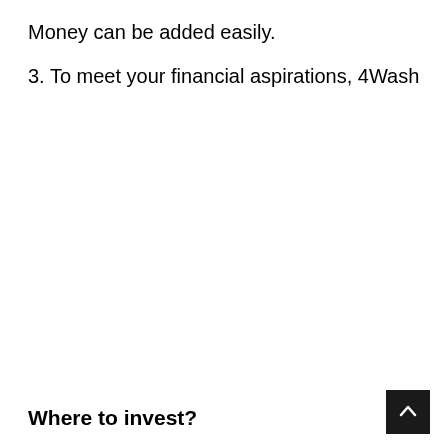Money can be added easily.
3. To meet your financial aspirations, 4Wash
Where to invest?